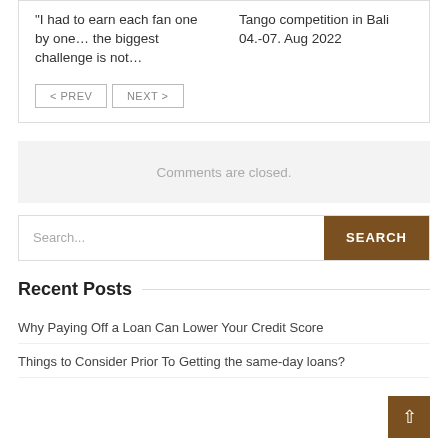“I had to earn each fan one by one… the biggest challenge is not…
Tango competition in Bali 04.-07. Aug 2022
< PREV   NEXT >
Comments are closed.
Search...
Recent Posts
Why Paying Off a Loan Can Lower Your Credit Score
Things to Consider Prior To Getting the same-day loans?